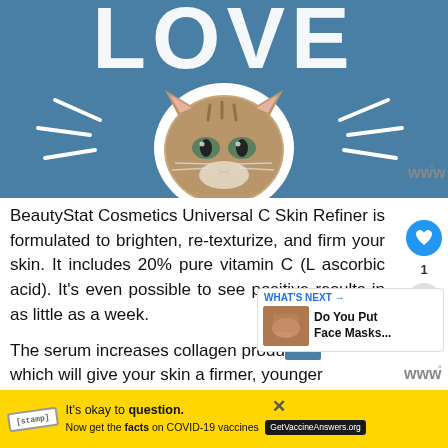[Figure (photo): Blue background graphic with white text 'LOVE' at top, a cat face in center with starburst lines, styled as a social media post or advertisement image.]
BeautyStat Cosmetics Universal C Skin Refiner is formulated to brighten, re-texturize, and firm your skin. It includes 20% pure vitamin C (L ascorbic acid). It's even possible to see positive results in as little as a week.
The serum increases collagen production which will give your skin a firmer, younger
[Figure (infographic): WHAT'S NEXT -> Do You Put Face Masks... widget with thumbnail of a hand/face mask]
[Figure (other): Advertisement bar: stamp icon, 'It's okay to question. Now get the facts on COVID-19 vaccines GetVaccineAnswers.org' on yellow background]